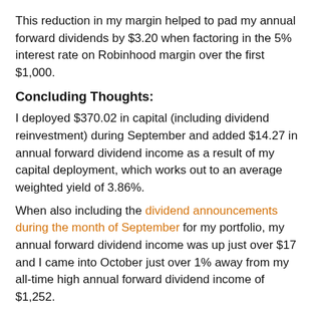This reduction in my margin helped to pad my annual forward dividends by $3.20 when factoring in the 5% interest rate on Robinhood margin over the first $1,000.
Concluding Thoughts:
I deployed $370.02 in capital (including dividend reinvestment) during September and added $14.27 in annual forward dividend income as a result of my capital deployment, which works out to an average weighted yield of 3.86%.
When also including the dividend announcements during the month of September for my portfolio, my annual forward dividend income was up just over $17 and I came into October just over 1% away from my all-time high annual forward dividend income of $1,252.
I am continuing to make significant progress in deleveraging my Robinhood margin and anticipate that I will have all margin repaid by the end of October (aside from the $1,000 of interest free margin). My credit card debt was down the